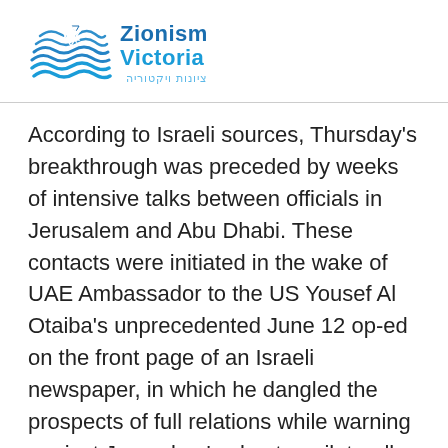[Figure (logo): Zionism Victoria logo with wave/flag graphic and Hebrew text צִיּוֹנוּת וִיקְטוֹרְיָה]
According to Israeli sources, Thursday's breakthrough was preceded by weeks of intensive talks between officials in Jerusalem and Abu Dhabi. These contacts were initiated in the wake of UAE Ambassador to the US Yousef Al Otaiba's unprecedented June 12 op-ed on the front page of an Israeli newspaper, in which he dangled the prospects of full relations while warning against Jerusalem's plan to unilaterally annex parts of the West Bank.
Netanyahu earlier Thursday abruptly left a meeting